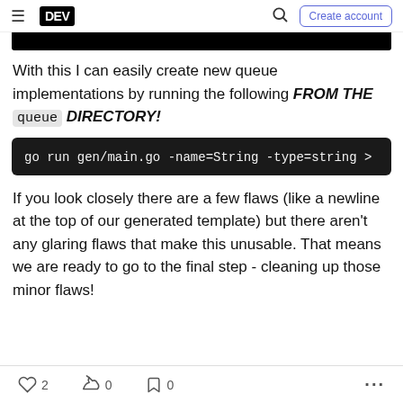DEV | Search | Create account
[Figure (screenshot): Black bar/image area at top of article content]
With this I can easily create new queue implementations by running the following FROM THE queue DIRECTORY!
go run gen/main.go -name=String -type=string >
If you look closely there are a few flaws (like a newline at the top of our generated template) but there aren't any glaring flaws that make this unusable. That means we are ready to go to the final step - cleaning up those minor flaws!
2 likes | 0 unicorns | 0 bookmarks | more options